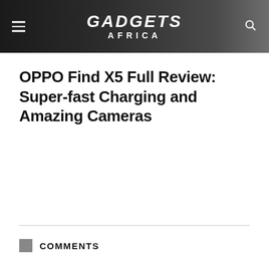GADGETS AFRICA
OPPO Find X5 Full Review: Super-fast Charging and Amazing Cameras
COMMENTS